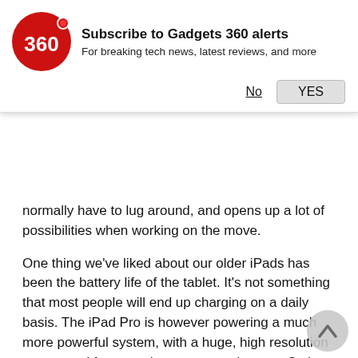[Figure (logo): Gadgets 360 red circular logo with '360' text and a red dot]
Subscribe to Gadgets 360 alerts
For breaking tech news, latest reviews, and more
No   YES
normally have to lug around, and opens up a lot of possibilities when working on the move.
One thing we've liked about our older iPads has been the battery life of the tablet. It's not something that most people will end up charging on a daily basis. The iPad Pro is however powering a much more powerful system, with a huge, high resolution screen and four speakers compared to two. So how does that measure up on battery usage?
Our standard video loop test saw the iPad run for nearly ten hours (9 hrs 40 mins). That's impressive, even for